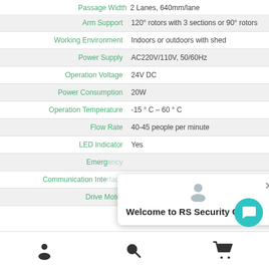| Specification | Value |
| --- | --- |
| Passage Width | 2 Lanes, 640mm/lane |
| Arm Support | 120° rotors with 3 sections or 90° rotors |
| Working Environment | Indoors or outdoors with shed |
| Power Supply | AC220V/110V, 50/60Hz |
| Operation Voltage | 24V DC |
| Power Consumption | 20W |
| Operation Temperature | -15°C – 60°C |
| Flow Rate | 40-45 people per minute |
| LED Indicator | Yes |
| Emergency | (partially obscured) |
| Communication Interface | (partially obscured) |
| Drive Motor | DC Brushless or Servo Motor |
Welcome to RS Security Co.,Ltd
Navigation bar with user, search, and cart icons